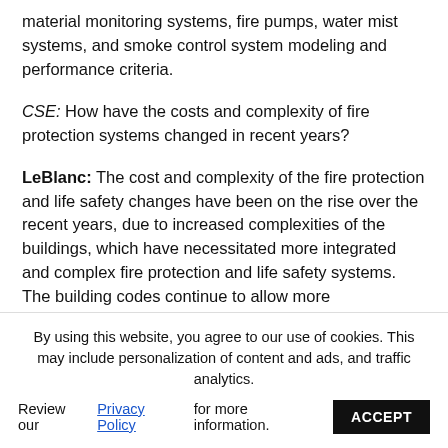material monitoring systems, fire pumps, water mist systems, and smoke control system modeling and performance criteria.
CSE: How have the costs and complexity of fire protection systems changed in recent years?
LeBlanc: The cost and complexity of the fire protection and life safety changes have been on the rise over the recent years, due to increased complexities of the buildings, which have necessitated more integrated and complex fire protection and life safety systems. The building codes continue to allow more performance-based solutions, which allows greater flexibility in the design of the buildings but oftentimes requires more complex fire protection and life
By using this website, you agree to our use of cookies. This may include personalization of content and ads, and traffic analytics.
Review our Privacy Policy for more information. ACCEPT